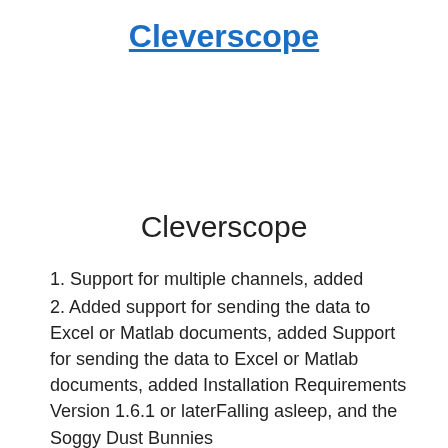Cleverscope
Cleverscope
1. Support for multiple channels, added
2. Added support for sending the data to Excel or Matlab documents, added Support for sending the data to Excel or Matlab documents, added Installation Requirements Version 1.6.1 or laterFalling asleep, and the Soggy Dust Bunnies